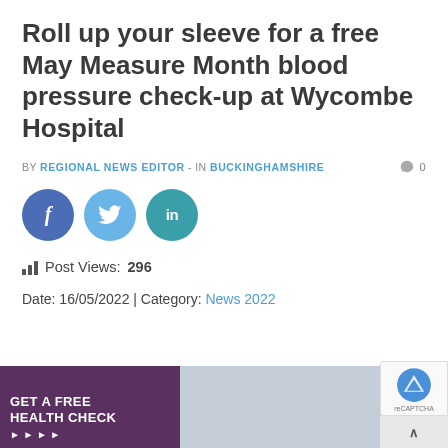Roll up your sleeve for a free May Measure Month blood pressure check-up at Wycombe Hospital
BY REGIONAL NEWS EDITOR - IN BUCKINGHAMSHIRE   0
[Figure (infographic): Social media share buttons: Facebook (dark blue circle with f), Twitter (light blue circle with bird), LinkedIn (teal circle with in)]
Post Views: 296
Date: 16/05/2022 | Category: News 2022
[Figure (photo): Photo showing a banner reading GET A FREE HEALTH CHECK and a person in a medical setting]